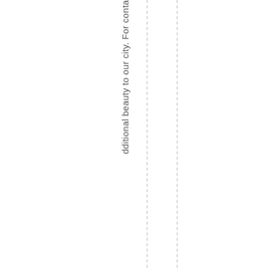dditional beauty to our city. For co conta